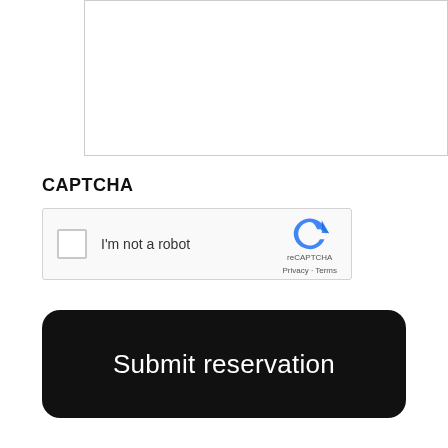[Figure (screenshot): A white textarea input box with a thin grey border, partially cropped at the top of the page.]
CAPTCHA
[Figure (other): reCAPTCHA widget with checkbox labeled 'I'm not a robot', reCAPTCHA logo, and Privacy/Terms links.]
Submit reservation